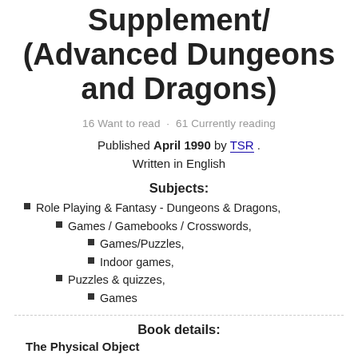Supplement/ (Advanced Dungeons and Dragons)
16 Want to read  ·  61 Currently reading
Published April 1990 by TSR . Written in English
Subjects:
Role Playing & Fantasy - Dungeons & Dragons,
Games / Gamebooks / Crosswords,
Games/Puzzles,
Indoor games,
Puzzles & quizzes,
Games
Book details:
The Physical Object